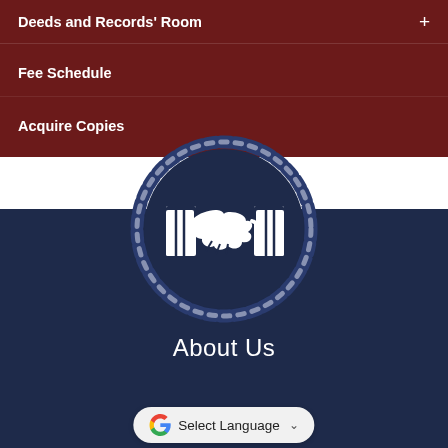Deeds and Records' Room
Fee Schedule
Acquire Copies
[Figure (illustration): Circular rope-bordered badge icon with a handshake icon on a dark navy blue background, representing community or civic engagement.]
About Us
[Figure (screenshot): Google Translate language selector widget with 'Select Language' text and a dropdown arrow.]